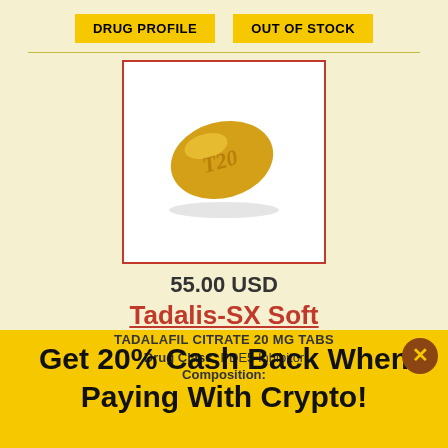DRUG PROFILE | OUT OF STOCK
[Figure (photo): Yellow teardrop-shaped tablet marked T20, shown against white background inside a red-bordered box]
55.00 USD
Tadalis-SX Soft
TADALAFIL CITRATE 20 MG TABS
Drug Class: PDE5 Inhibitor
Composition:
Get 20% Cash Back When Paying With Crypto!